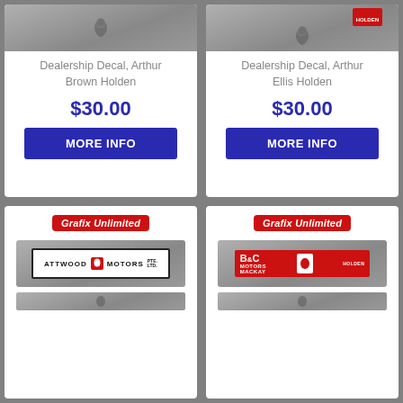[Figure (illustration): Product card for Dealership Decal, Arthur Brown Holden - gray gradient background with Holden lion icon]
Dealership Decal, Arthur Brown Holden
$30.00
MORE INFO
[Figure (illustration): Product card for Dealership Decal, Arthur Ellis Holden - gray gradient background with Holden lion icon]
Dealership Decal, Arthur Ellis Holden
$30.00
MORE INFO
[Figure (illustration): Product card showing Grafix Unlimited badge and Attwood Motors Pty Ltd dealership decal on gray background]
[Figure (illustration): Product card showing Grafix Unlimited badge and B&C Motors Mackay Holden dealership decal on gray background]